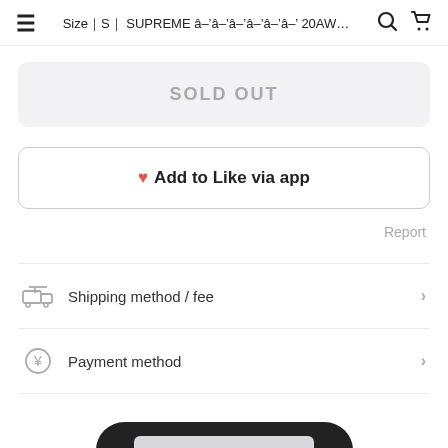Size｜S｜ SUPREME 20AW...
SOLD OUT
♥ Add to Like via app
Report
Shipping method / fee
Payment method
Chat with shop